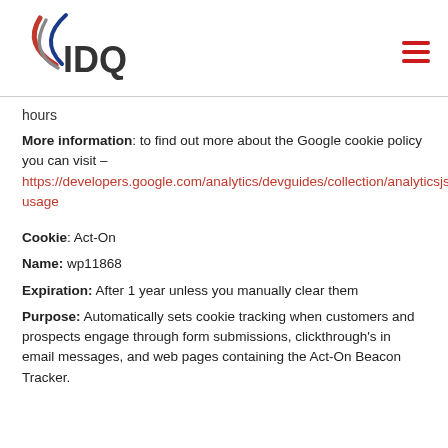IDQ logo and hamburger menu
hours
More information: to find out more about the Google cookie policy you can visit – https://developers.google.com/analytics/devguides/collection/analyticsjs/cookie-usage
Cookie: Act-On
Name: wp11868
Expiration: After 1 year unless you manually clear them
Purpose: Automatically sets cookie tracking when customers and prospects engage through form submissions, clickthrough's in email messages, and web pages containing the Act-On Beacon Tracker.